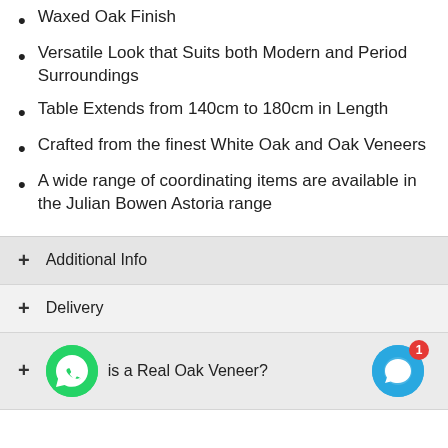Waxed Oak Finish
Versatile Look that Suits both Modern and Period Surroundings
Table Extends from 140cm to 180cm in Length
Crafted from the finest White Oak and Oak Veneers
A wide range of coordinating items are available in the Julian Bowen Astoria range
+ Additional Info
+ Delivery
+ What is a Real Oak Veneer?